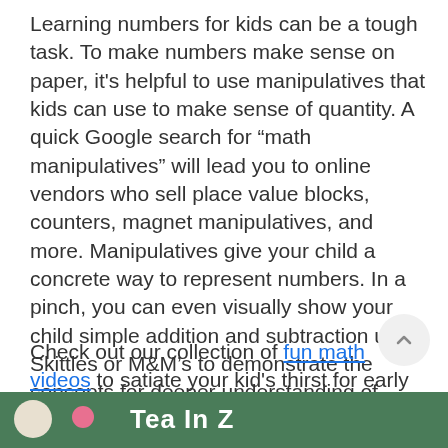Learning numbers for kids can be a tough task. To make numbers make sense on paper, it's helpful to use manipulatives that kids can use to make sense of quantity. A quick Google search for “math manipulatives” will lead you to online vendors who sell place value blocks, counters, magnet manipulatives, and more. Manipulatives give your child a concrete way to represent numbers. In a pinch, you can even visually show your child simple addition and subtraction using Skittles or M&M’s to demonstrate the concepts for deeper understanding of math.
Check out our collection of fun math videos to satiate your kid's thirst for early number sense concepts.
[Figure (photo): Bottom portion of an image with a green background showing partial text 'Tea In Z' and partial circular shapes, cut off at the bottom of the page.]